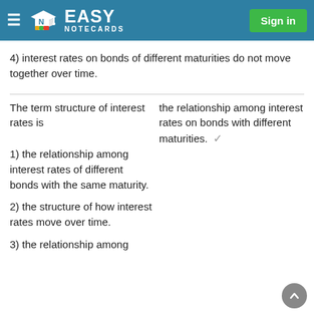Easy Notecards — Sign in
4) interest rates on bonds of different maturities do not move together over time.
The term structure of interest rates is
1) the relationship among interest rates of different bonds with the same maturity.
2) the structure of how interest rates move over time.
3) the relationship among
the relationship among interest rates on bonds with different maturities. ✓